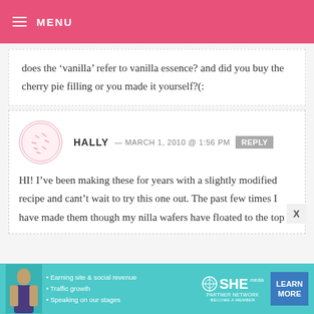MENU
does the ‘vanilla’ refer to vanilla essence? and did you buy the cherry pie filling or you made it yourself?(:
HALLY — MARCH 1, 2010 @ 1:56 PM  REPLY
HI! I’ve been making these for years with a slightly modified recipe and cant’t wait to try this one out. The past few times I have made them though my nilla wafers have floated to the top
[Figure (other): Advertisement banner for SHE Partner Network with woman photo, bullet points about earning site & social revenue, traffic growth, speaking on our stages, SHE logo, and LEARN MORE button]